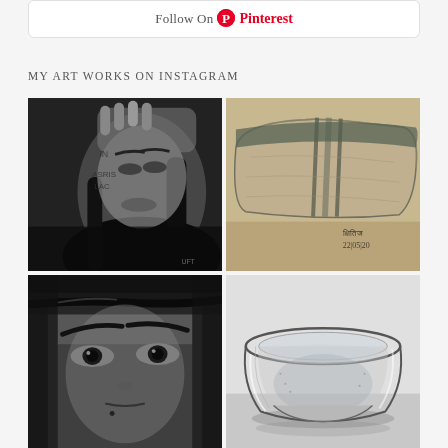[Figure (other): Pinterest follow button bar with Pinterest logo and text 'Follow On Pinterest']
MY ART WORKS ON INSTAGRAM
[Figure (photo): Pencil sketch portrait of a woman (resembling Angelina Jolie) with hand raised to forehead, detailed charcoal/graphite drawing]
[Figure (photo): Pencil/charcoal sketch of a pillow or cushion with a vertical band/ribbon, signed with date 22/05/20]
[Figure (photo): Close-up pencil sketch portrait focusing on a woman's intense eyes and forehead, dramatic shading]
[Figure (photo): Pencil sketch of a glass bowl/dish with water or liquid inside, realistic rendering]